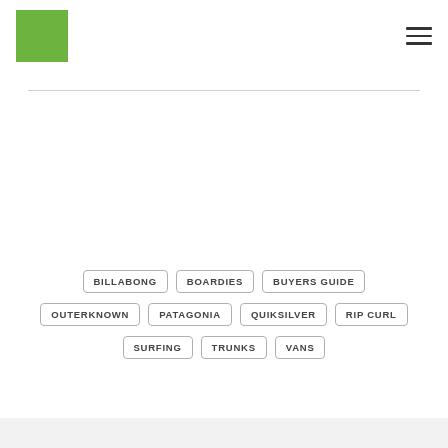[Figure (logo): Green square logo icon in top left]
[Figure (illustration): Hamburger menu icon (three horizontal lines) in top right]
BILLABONG
BOARDIES
BUYERS GUIDE
OUTERKNOWN
PATAGONIA
QUIKSILVER
RIP CURL
SURFING
TRUNKS
VANS